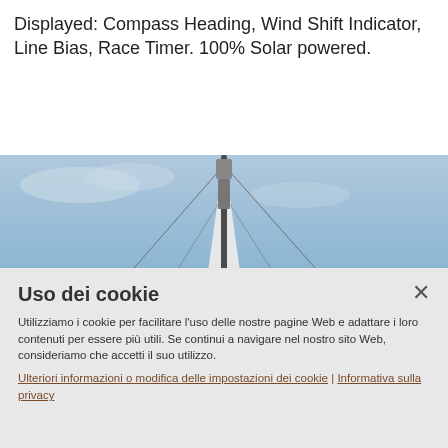Displayed: Compass Heading, Wind Shift Indicator, Line Bias, Race Timer. 100% Solar powered.
[Figure (photo): Looking up at sailboat mast and sail against a pale blue sky, with rigging visible. OptinMonster logo badge overlaid in lower right corner.]
Uso dei cookie
Utilizziamo i cookie per facilitare l'uso delle nostre pagine Web e adattare i loro contenuti per essere più utili. Se continui a navigare nel nostro sito Web, consideriamo che accetti il suo utilizzo.
Ulteriori informazioni o modifica delle impostazioni dei cookie | Informativa sulla privacy